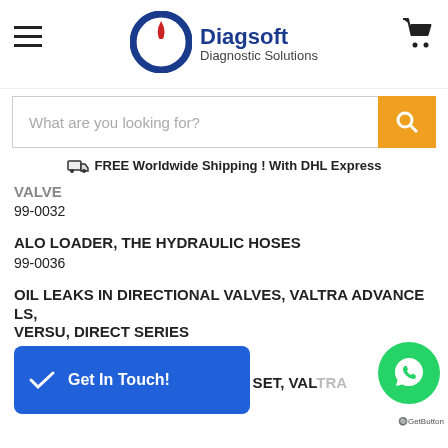[Figure (logo): Diagsoft Diagnostic Solutions logo with blue circular icon and red slash]
What are you looking for?
FREE Worldwide Shipping ! With DHL Express
VALVE
99-0032
ALO LOADER, THE HYDRAULIC HOSES
99-0036
OIL LEAKS IN DIRECTIONAL VALVES, VALTRA ADVANCE LS, VERSU, DIRECT SERIES
SBTM 0015
VA... LLEL COUPLER WIRING SET, VALTRA N1LS & T1LS SERIES